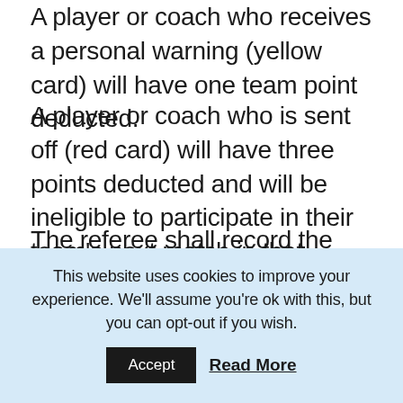A player or coach who receives a personal warning (yellow card) will have one team point deducted.
A player or coach who is sent off (red card) will have three points deducted and will be ineligible to participate in their team's next match in that competition.
The referee shall record the circumstances on the back of the scoresheet and the case shall be considered by the League Committee for possible further action.
If in the course of a season a player or coach accumulates six points, they will be ineligible to participate in their teams' next match in that competition and their case will be
This website uses cookies to improve your experience. We'll assume you're ok with this, but you can opt-out if you wish.
Accept
Read More